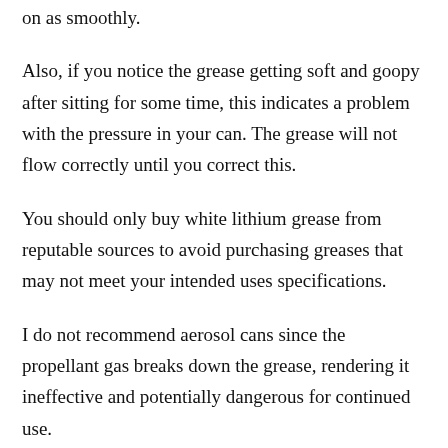on as smoothly.
Also, if you notice the grease getting soft and goopy after sitting for some time, this indicates a problem with the pressure in your can. The grease will not flow correctly until you correct this.
You should only buy white lithium grease from reputable sources to avoid purchasing greases that may not meet your intended uses specifications.
I do not recommend aerosol cans since the propellant gas breaks down the grease, rendering it ineffective and potentially dangerous for continued use.
My recommendation is to store your greases in a cool environment and keep them closed when not in use.